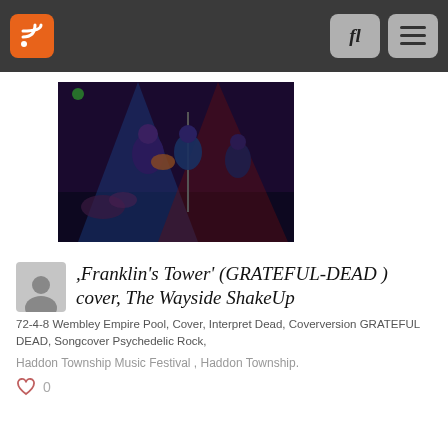RSS feed, Search, Menu buttons
[Figure (photo): Concert photo showing musicians on stage with blue and red stage lighting, guitarist and vocalist visible]
ʼFranklin’s Towerʼ (GRATEFUL-DEAD ) cover, The Wayside ShakeUp
72-4-8 Wembley Empire Pool, Cover, Interpret Dead, Coverversion GRATEFUL DEAD, Songcover Psychedelic Rock,
Haddon Township Music Festival , Haddon Township.
0